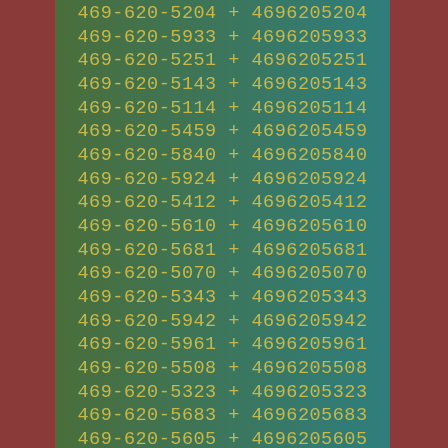469-620-5204 + 4696205204
469-620-5933 + 4696205933
469-620-5251 + 4696205251
469-620-5143 + 4696205143
469-620-5114 + 4696205114
469-620-5459 + 4696205459
469-620-5840 + 4696205840
469-620-5924 + 4696205924
469-620-5412 + 4696205412
469-620-5610 + 4696205610
469-620-5681 + 4696205681
469-620-5070 + 4696205070
469-620-5343 + 4696205343
469-620-5942 + 4696205942
469-620-5961 + 4696205961
469-620-5508 + 4696205508
469-620-5323 + 4696205323
469-620-5683 + 4696205683
469-620-5605 + 4696205605
469-620-5914 + 4696205914
469-620-5184 + 4696205184
469-620-5859 + 4696205859
469-620-5047 + 4696205047